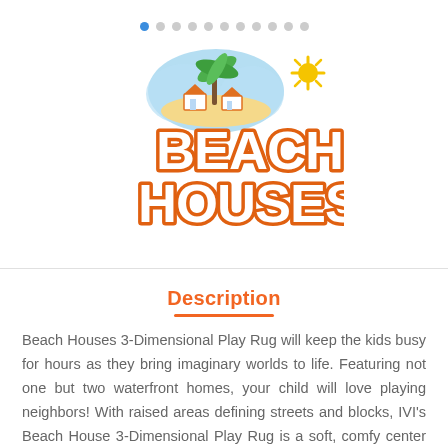[Figure (logo): Beach Houses product logo with colorful beach scene illustration above stylized orange bubble-letter text reading BEACH HOUSES, with a yellow sun graphic in the upper right]
Description
Beach Houses 3-Dimensional Play Rug will keep the kids busy for hours as they bring imaginary worlds to life. Featuring not one but two waterfront homes, your child will love playing neighbors! With raised areas defining streets and blocks, IVI's Beach House 3-Dimensional Play Rug is a soft, comfy center for
Read More